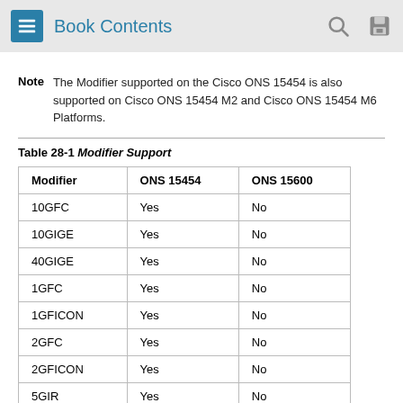Book Contents
Note   The Modifier supported on the Cisco ONS 15454 is also supported on Cisco ONS 15454 M2 and Cisco ONS 15454 M6 Platforms.
Table 28-1 Modifier Support
| Modifier | ONS 15454 | ONS 15600 |
| --- | --- | --- |
| 10GFC | Yes | No |
| 10GIGE | Yes | No |
| 40GIGE | Yes | No |
| 1GFC | Yes | No |
| 1GFICON | Yes | No |
| 2GFC | Yes | No |
| 2GFICON | Yes | No |
| 5GIR | Yes | No |